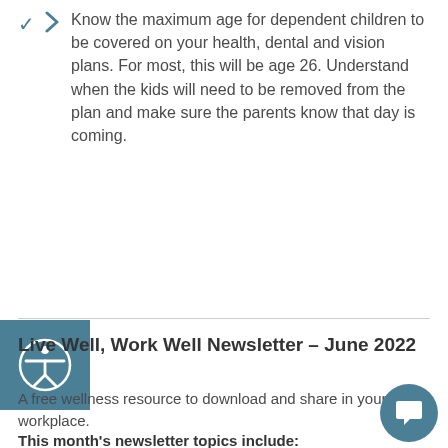Know the maximum age for dependent children to be covered on your health, dental and vision plans. For most, this will be age 26. Understand when the kids will need to be removed from the plan and make sure the parents know that day is coming.
[Figure (illustration): Accessibility icon — white person with arms outstretched inside a circle, on a teal/blue-grey square background]
Live Well, Work Well Newsletter – June 2022
A free wellness resource to download and share in your workplace.
This month's newsletter topics include: